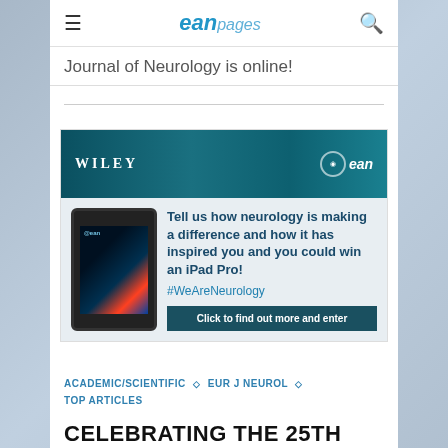eanpages
Journal of Neurology is online!
[Figure (infographic): Wiley and EAN advertisement banner. Header shows WILEY and ean logos on dark teal neural background. Body shows a tablet device displaying a journal cover, with text: Tell us how neurology is making a difference and how it has inspired you and you could win an iPad Pro! #WeAreNeurology. CTA button: Click to find out more and enter]
ACADEMIC/SCIENTIFIC ◇ EUR J NEUROL ◇ TOP ARTICLES
CELEBRATING THE 25TH